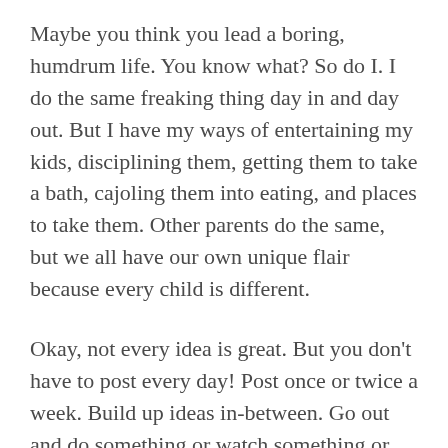Maybe you think you lead a boring, humdrum life. You know what? So do I. I do the same freaking thing day in and day out. But I have my ways of entertaining my kids, disciplining them, getting them to take a bath, cajoling them into eating, and places to take them. Other parents do the same, but we all have our own unique flair because every child is different.
Okay, not every idea is great. But you don't have to post every day! Post once or twice a week. Build up ideas in-between. Go out and do something or watch something or try a product or read a book or try a new recipe and write about it. Or look at your Google search, see what you look up a lot, compile some information, and write a post about it. If you're Googling it, someone else probably is